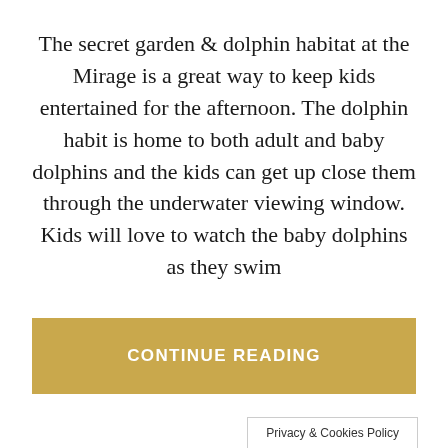The secret garden & dolphin habitat at the Mirage is a great way to keep kids entertained for the afternoon. The dolphin habit is home to both adult and baby dolphins and the kids can get up close them through the underwater viewing window. Kids will love to watch the baby dolphins as they swim
CONTINUE READING
Privacy & Cookies Policy